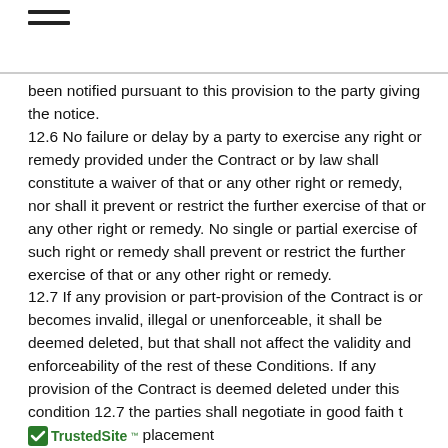≡
been notified pursuant to this provision to the party giving the notice.
12.6 No failure or delay by a party to exercise any right or remedy provided under the Contract or by law shall constitute a waiver of that or any other right or remedy, nor shall it prevent or restrict the further exercise of that or any other right or remedy. No single or partial exercise of such right or remedy shall prevent or restrict the further exercise of that or any other right or remedy.
12.7 If any provision or part-provision of the Contract is or becomes invalid, illegal or unenforceable, it shall be deemed deleted, but that shall not affect the validity and enforceability of the rest of these Conditions. If any provision of the Contract is deemed deleted under this condition 12.7 the parties shall negotiate in good faith t [TrustedSite] placement